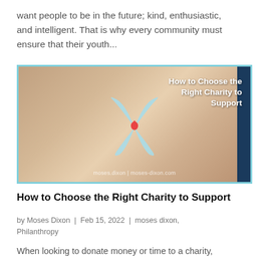want people to be in the future; kind, enthusiastic, and intelligent. That is why every community must ensure that their youth...
[Figure (photo): Person holding a light blue awareness ribbon with a red drop symbol, with text overlay 'How to Choose the Right Charity to Support' and watermark 'moses.dixon | moses-dixon.com']
How to Choose the Right Charity to Support
by Moses Dixon | Feb 15, 2022 | moses dixon, Philanthropy
When looking to donate money or time to a charity,